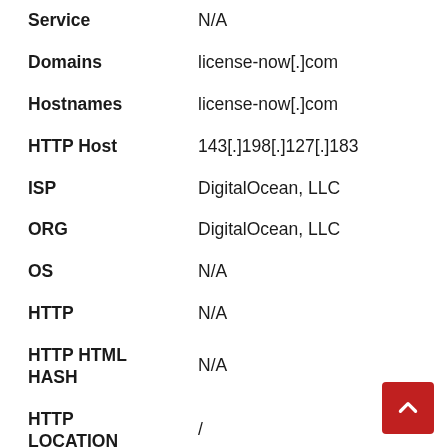| Field | Value |
| --- | --- |
| Service | N/A |
| Domains | license-now[.]com |
| Hostnames | license-now[.]com |
| HTTP Host | 143[.]198[.]127[.]183 |
| ISP | DigitalOcean, LLC |
| ORG | DigitalOcean, LLC |
| OS | N/A |
| HTTP | N/A |
| HTTP HTML HASH | N/A |
| HTTP LOCATION | / |
| HTTP REDIRECTS |  |
| HTTP |  |